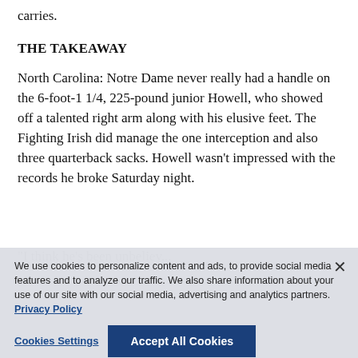carries.
THE TAKEAWAY
North Carolina: Notre Dame never really had a handle on the 6-foot-1 1/4, 225-pound junior Howell, who showed off a talented right arm along with his elusive feet. The Fighting Irish did manage the one interception and also three quarterback sacks. Howell wasn't impressed with the records he broke Saturday night.
We use cookies to personalize content and ads, to provide social media features and to analyze our traffic. We also share information about your use of our site with our social media, advertising and analytics partners. Privacy Policy
Cookies Settings
Accept All Cookies